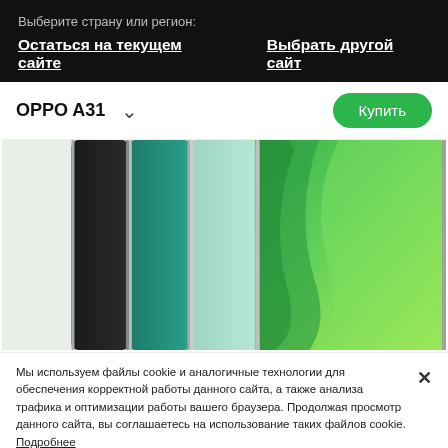Выберите страну или регион:
Остаться на текущем сайте   Выбрать другой сайт
OPPO A31
Купить
[Figure (photo): Three OPPO A31 smartphones shown side by side in black, teal/green, and mint green colors, with a closeup of the green phone on the right showing the curved back.]
Мы используем файлы cookie и аналогичные технологии для обеспечения корректной работы данного сайта, а также анализа трафика и оптимизации работы вашего браузера. Продолжая просмотр данного сайта, вы соглашаетесь на использование таких файлов cookie. Подробнее